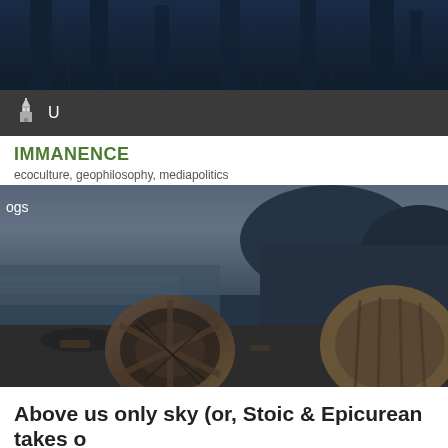[Figure (photo): Dark blue toned header image showing tree trunks or forest scene with dark atmospheric overlay]
U
IMMANENCE
ecoculture, geophilosophy, mediapolitics
[Figure (photo): A beach or coastal scene with rusted, wrecked machinery or ship parts lying on a rocky shore under an overcast sky. Text overlay reads 'ogs']
Above us only sky (or, Stoic & Epicurean takes o
September 22, 2020 by Adrian J Ivakhiv